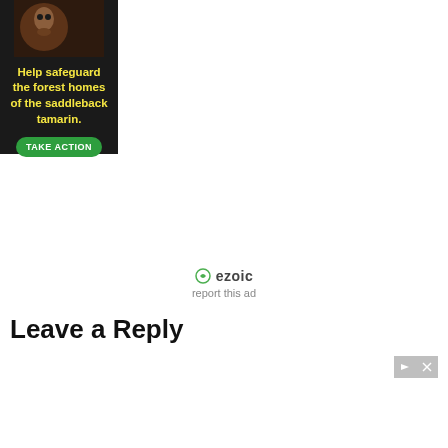[Figure (illustration): Advertisement banner for forest conservation — dark background with a tamarin monkey image, yellow bold text 'Help safeguard the forest homes of the saddleback tamarin.' and a green 'TAKE ACTION' button]
[Figure (logo): Ezoic logo with green circular icon and 'ezoic' text, followed by 'report this ad' link below]
Leave a Reply
[Figure (illustration): Comfort Keepers advertisement on orange background with a smiling woman's photo on the left and the Comfort Keepers logo (blue circle with house icon) on the right with 'a sodexo brand' tagline]